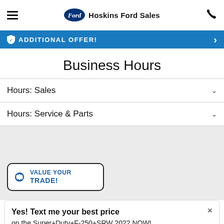Hoskins Ford Sales
[Figure (screenshot): Blue banner with shield icon and text ADDITIONAL OFFER! and right chevron arrow]
Business Hours
Hours: Sales
Hours: Service & Parts
[Figure (screenshot): Gray section background area]
VALUE YOUR TRADE!
Yes! Text me your best price on the Super+Duty+F-250+SRW 2022 NOW! Click here.